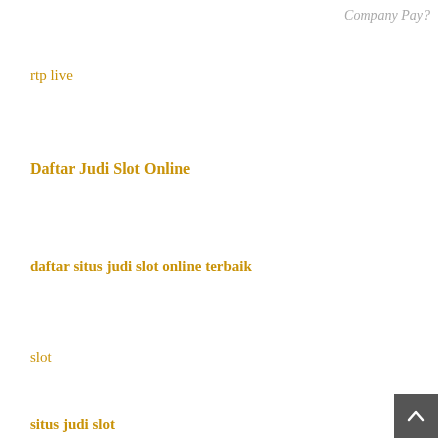Company Pay?
rtp live
Daftar Judi Slot Online
daftar situs judi slot online terbaik
slot
situs judi slot